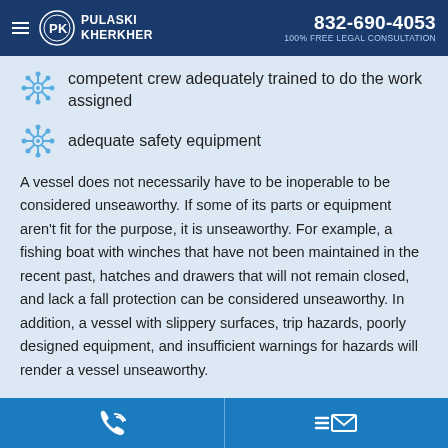PULASKI KHERKHER | 832-690-4053 | 100% FREE LEGAL CONSULTATION
competent crew adequately trained to do the work assigned
adequate safety equipment
A vessel does not necessarily have to be inoperable to be considered unseaworthy. If some of its parts or equipment aren't fit for the purpose, it is unseaworthy. For example, a fishing boat with winches that have not been maintained in the recent past, hatches and drawers that will not remain closed, and lack a fall protection can be considered unseaworthy. In addition, a vessel with slippery surfaces, trip hazards, poorly designed equipment, and insufficient warnings for hazards will render a vessel unseaworthy.
Phone | Email